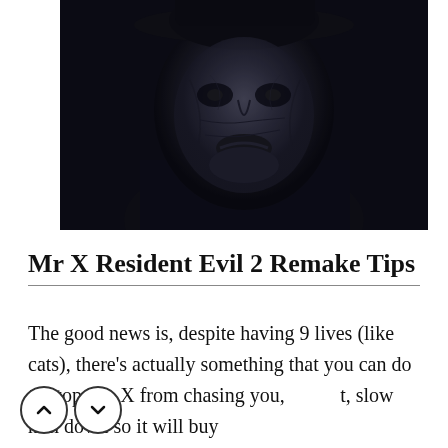[Figure (photo): Close-up dark photo of Mr. X (Tyrant) from Resident Evil 2 Remake, a monstrous humanoid figure with dark textured skin and a hat, dark blue-grey tones]
Mr X Resident Evil 2 Remake Tips
The good news is, despite having 9 lives (like cats), there's actually something that you can do to stop Mr. X from chasing you, at least, slow him down so it will buy